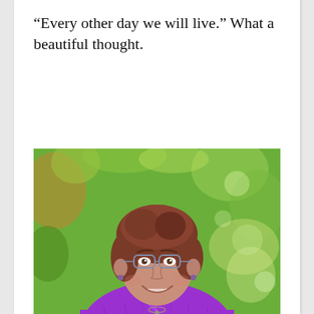“Every other day we will live.” What a beautiful thought.
[Figure (photo): Portrait photo of a middle-aged woman with short brown hair and glasses, wearing a purple top, smiling, photographed outdoors in front of green foliage.]